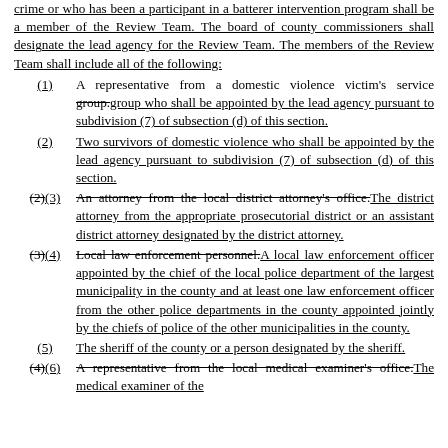crime or who has been a participant in a batterer intervention program shall be a member of the Review Team. The board of county commissioners shall designate the lead agency for the Review Team. The members of the Review Team shall include all of the following:
(1) A representative from a domestic violence victim's service group.[strikethrough] group who shall be appointed by the lead agency pursuant to subdivision (7) of subsection (d) of this section.
(2) Two survivors of domestic violence who shall be appointed by the lead agency pursuant to subdivision (7) of subsection (d) of this section.
(2)(3) An attorney from the local district attorney's office.[strikethrough] The district attorney from the appropriate prosecutorial district or an assistant district attorney designated by the district attorney.
(3)(4) Local law enforcement personnel.[strikethrough] A local law enforcement officer appointed by the chief of the local police department of the largest municipality in the county and at least one law enforcement officer from the other police departments in the county appointed jointly by the chiefs of police of the other municipalities in the county.
(5) The sheriff of the county or a person designated by the sheriff.
(4)(6) A representative from the local medical examiner's office.[strikethrough] The medical examiner of the county or a person designated by the medical examiner.